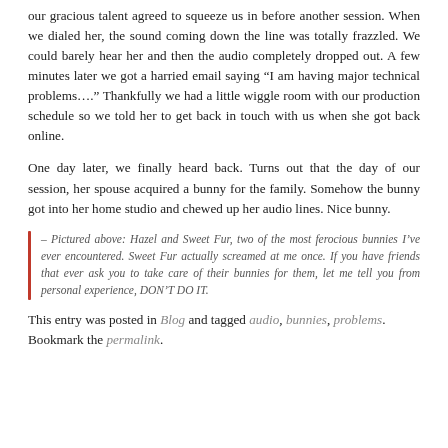our gracious talent agreed to squeeze us in before another session. When we dialed her, the sound coming down the line was totally frazzled. We could barely hear her and then the audio completely dropped out. A few minutes later we got a harried email saying “I am having major technical problems….” Thankfully we had a little wiggle room with our production schedule so we told her to get back in touch with us when she got back online.
One day later, we finally heard back. Turns out that the day of our session, her spouse acquired a bunny for the family. Somehow the bunny got into her home studio and chewed up her audio lines. Nice bunny.
— Pictured above: Hazel and Sweet Fur, two of the most ferocious bunnies I’ve ever encountered. Sweet Fur actually screamed at me once. If you have friends that ever ask you to take care of their bunnies for them, let me tell you from personal experience, DON’T DO IT.
This entry was posted in Blog and tagged audio, bunnies, problems. Bookmark the permalink.